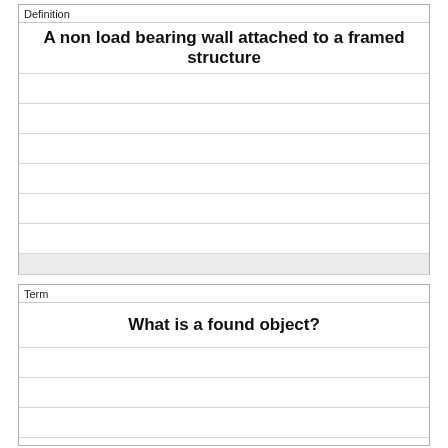| Definition |
| --- |
| A non load bearing wall attached to a framed structure |
| Term |
| --- |
| What is a found object? |